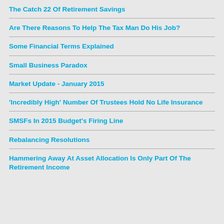The Catch 22 Of Retirement Savings
Are There Reasons To Help The Tax Man Do His Job?
Some Financial Terms Explained
Small Business Paradox
Market Update - January 2015
'Incredibly High' Number Of Trustees Hold No Life Insurance
SMSFs In 2015 Budget's Firing Line
Rebalancing Resolutions
Hammering Away At Asset Allocation Is Only Part Of The Retirement Income